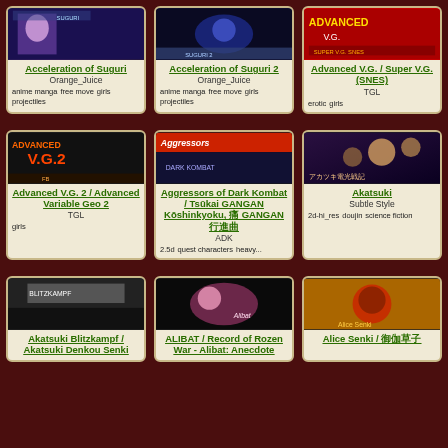[Figure (screenshot): Acceleration of Suguri game screenshot]
Acceleration of Suguri
Orange_Juice
anime manga  free move  girls
projectiles
[Figure (screenshot): Acceleration of Suguri 2 game screenshot]
Acceleration of Suguri 2
Orange_Juice
anime manga  free move  girls
projectiles
[Figure (screenshot): Advanced V.G. / Super V.G. (SNES) game screenshot]
Advanced V.G. / Super V.G. (SNES)
TGL
erotic  girls
[Figure (screenshot): Advanced V.G. 2 game screenshot]
Advanced V.G. 2 / Advanced Variable Geo 2
TGL
girls
[Figure (screenshot): Aggressors of Dark Kombat game screenshot]
Aggressors of Dark Kombat / Tsūkai GANGAN Kōshinkyoku, 痛 GANGAN行進曲
ADK
2.5d  quest characters  heavy...
[Figure (screenshot): Akatsuki game screenshot]
Akatsuki
Subtle Style
2d-hi_res  doujin  science fiction
[Figure (screenshot): Akatsuki Blitzkampf game screenshot]
Akatsuki Blitzkampf / Akatsuki Denkou Senki
[Figure (screenshot): ALIBAT / Record of Rozen War game screenshot]
ALIBAT / Record of Rozen War - Alibat: Anecdote
[Figure (screenshot): Alice Senki game screenshot]
Alice Senki / 御伽草子